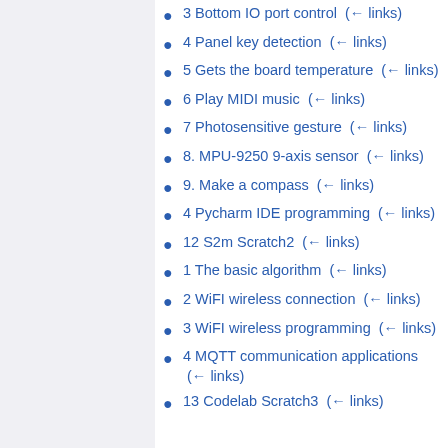3 Bottom IO port control  (← links)
4 Panel key detection  (← links)
5 Gets the board temperature  (← links)
6 Play MIDI music  (← links)
7 Photosensitive gesture  (← links)
8. MPU-9250 9-axis sensor  (← links)
9. Make a compass  (← links)
4 Pycharm IDE programming  (← links)
12 S2m Scratch2  (← links)
1 The basic algorithm  (← links)
2 WiFI wireless connection  (← links)
3 WiFI wireless programming  (← links)
4 MQTT communication applications  (← links)
13 Codelab Scratch3  (← links)